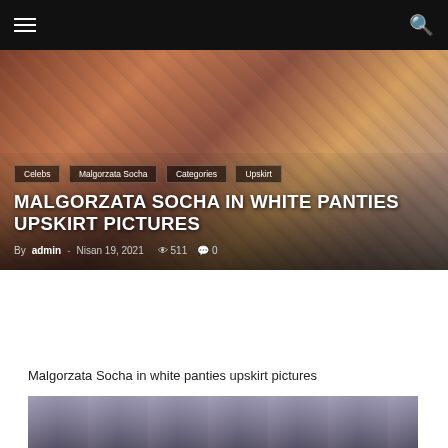Navigation bar with hamburger menu and search icon
[Figure (photo): Hero banner image showing party/event scene with people, used as background for article header]
Celebs
Malgorzata Socha
Categories
Upskirt
MALGORZATA SOCHA IN WHITE PANTIES UPSKIRT PICTURES
By admin - Nisan 19, 2021  511  0
Malgorzata Socha in white panties upskirt pictures
[Figure (photo): Partial photo at bottom showing crowd at an event, cut off by page edge]